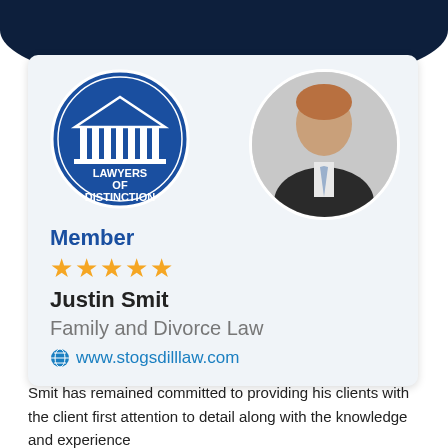[Figure (logo): Lawyers of Distinction circular badge logo with columns motif on blue background]
[Figure (photo): Professional headshot of Justin Smit, a man in a dark suit with light tie]
Member
★★★★★
Justin Smit
Family and Divorce Law
www.stogsdilllaw.com
Since joining The Stogsdill Law Firm, P.C. in 2000, Mr. Smit has remained committed to providing his clients with the client first attention to detail along with the knowledge and experience